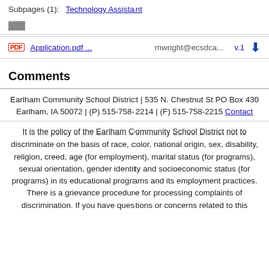Subpages (1):   Technology Assistant
[Figure (other): Gray folder icon]
Application.pdf ...   mwright@ecsdca...   v.1   [download arrow]
Comments
Earlham Community School District | 535 N. Chestnut St PO Box 430 Earlham, IA 50072 | (P) 515-758-2214 | (F) 515-758-2215 Contact
It is the policy of the Earlham Community School District not to discriminate on the basis of race, color, national origin, sex, disability, religion, creed, age (for employment), marital status (for programs), sexual orientation, gender identity and socioeconomic status (for programs) in its educational programs and its employment practices. There is a grievance procedure for processing complaints of discrimination. If you have questions or concerns related to this